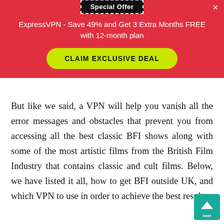Special Offer
ExpressVPN - Save 49% and Get 3 Extra Months FREE with 12-month plan
CLAIM EXCLUSIVE DEAL
But like we said, a VPN will help you vanish all the error messages and obstacles that prevent you from accessing all the best classic BFI shows along with some of the most artistic films from the British Film Industry that contains classic and cult films. Below, we have listed it all, how to get BFI outside UK, and which VPN to use in order to achieve the best results.